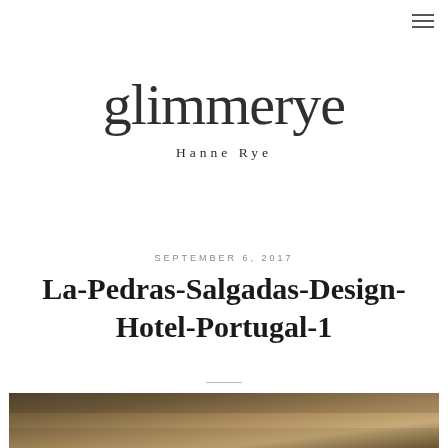glimmerye — Hanne Rye (logo/site header)
SEPTEMBER 6, 2017
La-Pedras-Salgadas-Design-Hotel-Portugal-1
[Figure (photo): Bottom strip of a photograph showing warm golden-brown tones, likely a hotel or landscape image]